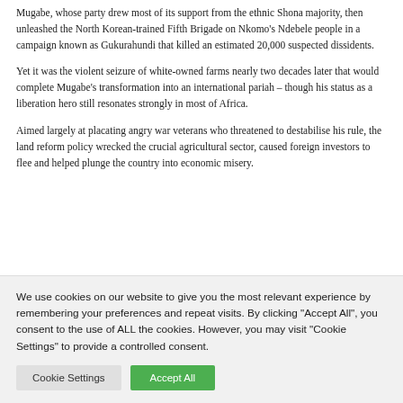Mugabe, whose party drew most of its support from the ethnic Shona majority, then unleashed the North Korean-trained Fifth Brigade on Nkomo's Ndebele people in a campaign known as Gukurahundi that killed an estimated 20,000 suspected dissidents.
Yet it was the violent seizure of white-owned farms nearly two decades later that would complete Mugabe's transformation into an international pariah – though his status as a liberation hero still resonates strongly in most of Africa.
Aimed largely at placating angry war veterans who threatened to destabilise his rule, the land reform policy wrecked the crucial agricultural sector, caused foreign investors to flee and helped plunge the country into economic misery.
We use cookies on our website to give you the most relevant experience by remembering your preferences and repeat visits. By clicking "Accept All", you consent to the use of ALL the cookies. However, you may visit "Cookie Settings" to provide a controlled consent.